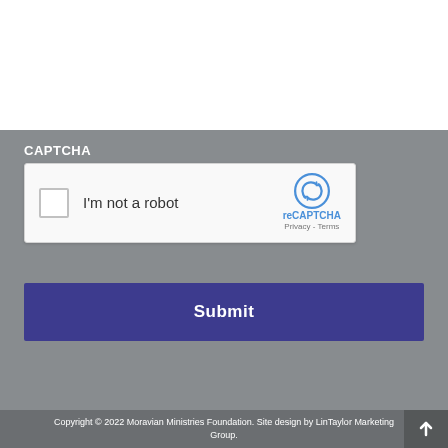[Figure (logo): Moravian Ministries Foundation logo with arch and starburst, blue/grey text]
[Figure (other): Hamburger menu icon (three horizontal lines)]
CAPTCHA
[Figure (other): reCAPTCHA widget: checkbox with I'm not a robot label and reCAPTCHA logo with Privacy - Terms links]
Submit
Copyright © 2022 Moravian Ministries Foundation. Site design by LinTaylor Marketing Group.